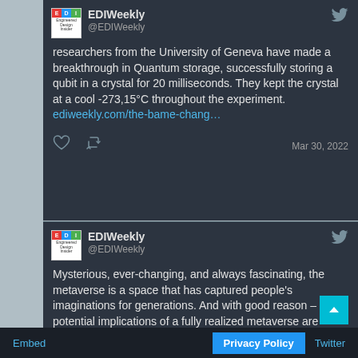EDIWeekly @EDIWeekly — researchers from the University of Geneva have made a breakthrough in Quantum storage, successfully storing a qubit in a crystal for 20 milliseconds. They kept the crystal at a cool -273,15°C throughout the experiment. ediweekly.com/the-bame-chang… Mar 30, 2022
EDIWeekly @EDIWeekly — Mysterious, ever-changing, and always fascinating, the metaverse is a space that has captured people's imaginations for generations. And with good reason – the potential implications of a fully realized metaverse are staggering. ediweekly.com/the-mysterious…
Embed   Privacy Policy   Twitter